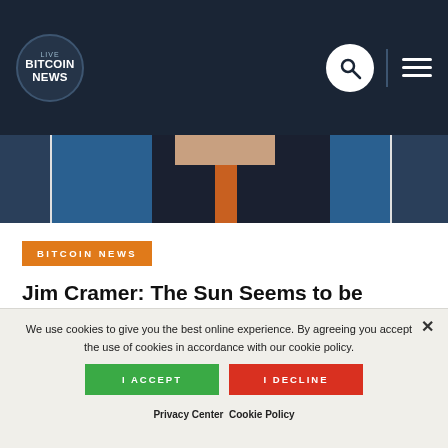LIVE BITCOIN NEWS
[Figure (photo): Partial photo of a person in a dark suit with an orange/red tie, likely Jim Cramer, cropped to show torso area]
BITCOIN NEWS
Jim Cramer: The Sun Seems to be Setting with Bitcoin
We use cookies to give you the best online experience. By agreeing you accept the use of cookies in accordance with our cookie policy.
I ACCEPT
I DECLINE
Privacy Center  Cookie Policy